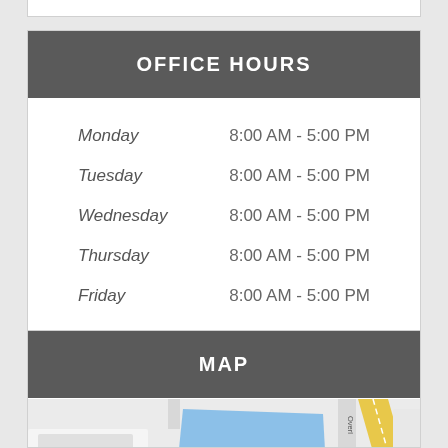OFFICE HOURS
| Day | Hours |
| --- | --- |
| Monday | 8:00 AM - 5:00 PM |
| Tuesday | 8:00 AM - 5:00 PM |
| Wednesday | 8:00 AM - 5:00 PM |
| Thursday | 8:00 AM - 5:00 PM |
| Friday | 8:00 AM - 5:00 PM |
MAP
[Figure (map): Street map showing N Milwaukee Ave and surrounding area with a blue highlighted building footprint and red marker pin.]